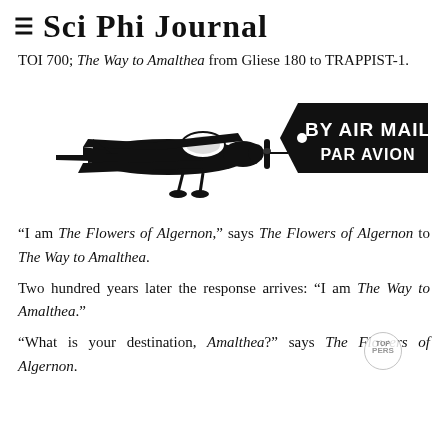≡  Sci Phi Journal
TOI 700; The Way to Amalthea from Gliese 180 to TRAPPIST-1.
[Figure (illustration): Black and white illustration of a propeller airplane pulling a tag-shaped banner that reads 'BY AIR MAIL PAR AVION' in white text on a black background.]
"I am The Flowers of Algernon," says The Flowers of Algernon to The Way to Amalthea.
Two hundred years later the response arrives: "I am The Way to Amalthea."
"What is your destination, Amalthea?" says The Flowers of Algernon.